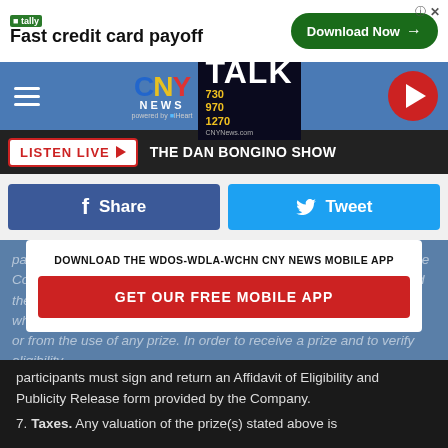[Figure (screenshot): Tally advertisement banner: Fast credit card payoff with Download Now button]
[Figure (logo): CNY News Talk 730/970/1270 radio station logo with hamburger menu and play button]
LISTEN LIVE ▶  THE DAN BONGINO SHOW
[Figure (infographic): Facebook Share and Tweet social media buttons]
participant and winner waives any and all claims of liability against the Company, its parent, related, affiliated and subsidiary companies and their employees and agents of each, for any personal injury or loss which may occur from the conduct of, or participation in, the Contest, or from the use of any prize. In order to receive a prize and to verify eligibility,
DOWNLOAD THE WDOS-WDLA-WCHN CNY NEWS MOBILE APP
GET OUR FREE MOBILE APP
participants must sign and return an Affidavit of Eligibility and Publicity Release form provided by the Company.
7. Taxes. Any valuation of the prize(s) stated above is